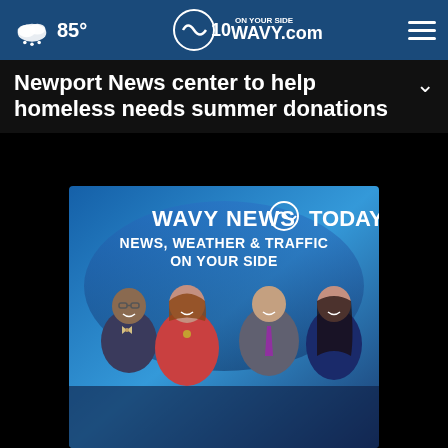85° | WAVY.com On Your Side
Newport News center to help homeless needs summer donations
[Figure (photo): WAVY News 10 Today promotional image showing four news anchors/reporters in a studio setting with text: WAVY NEWS 10 TODAY - NEWS, WEATHER & TRAFFIC ON YOUR SIDE]